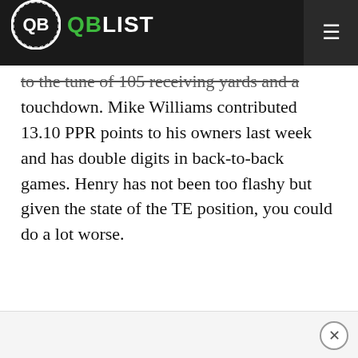QB LIST
to the tune of 105 receiving yards and a touchdown. Mike Williams contributed 13.10 PPR points to his owners last week and has double digits in back-to-back games. Henry has not been too flashy but given the state of the TE position, you could do a lot worse.